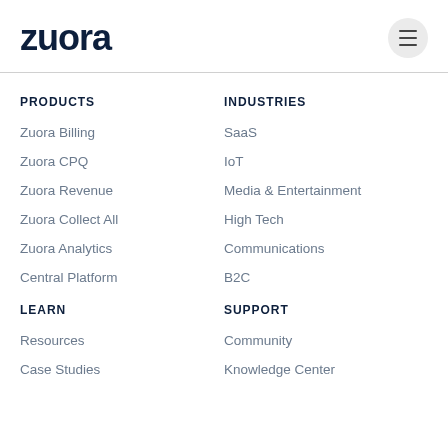[Figure (logo): Zuora logo in dark navy blue bold text]
PRODUCTS
Zuora Billing
Zuora CPQ
Zuora Revenue
Zuora Collect All
Zuora Analytics
Central Platform
INDUSTRIES
SaaS
IoT
Media & Entertainment
High Tech
Communications
B2C
LEARN
Resources
Case Studies
SUPPORT
Community
Knowledge Center